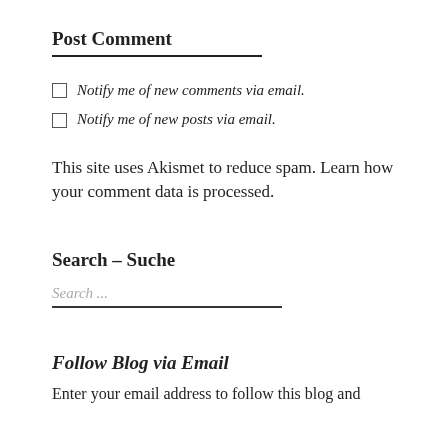Post Comment
Notify me of new comments via email.
Notify me of new posts via email.
This site uses Akismet to reduce spam. Learn how your comment data is processed.
Search – Suche
Search ...
Follow Blog via Email
Enter your email address to follow this blog and